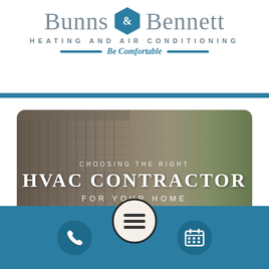[Figure (logo): Bunns & Bennett Heating and Air Conditioning logo with teal hexagon, company name in grey serif font, subtitle 'HEATING AND AIR CONDITIONING', tagline 'Be Comfortable' in italic teal with blue bars on either side]
[Figure (photo): Hero image of an HVAC/AC unit exterior condenser with text overlay reading 'CHOOSING THE RIGHT HVAC CONTRACTOR FOR YOUR HOME', rounded rectangle image with outdoor background]
[Figure (infographic): Teal bottom navigation bar with three icons: phone icon circle (left), hamburger menu icon in large white circle (center, overlapping hero image), and calendar icon circle (right)]